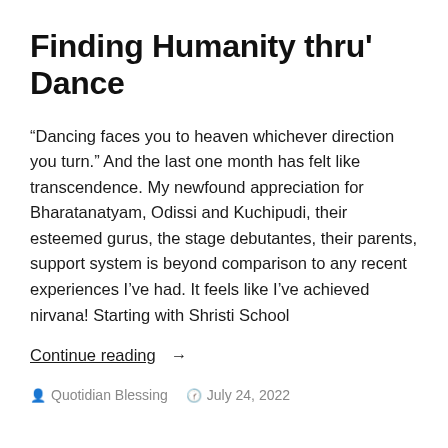Finding Humanity thru' Dance
“Dancing faces you to heaven whichever direction you turn.” And the last one month has felt like transcendence. My newfound appreciation for Bharatanatyam, Odissi and Kuchipudi, their esteemed gurus, the stage debutantes, their parents, support system is beyond comparison to any recent experiences I’ve had. It feels like I’ve achieved nirvana! Starting with Shristi School
Continue reading →
Quotidian Blessing   July 24, 2022